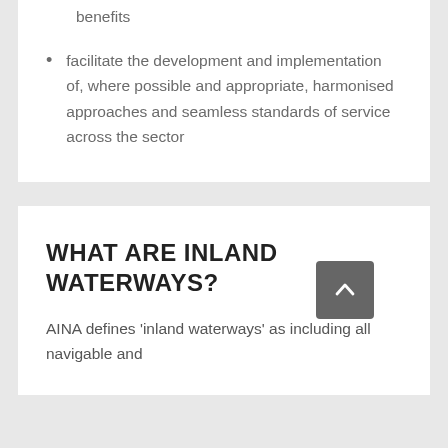benefits
facilitate the development and implementation of, where possible and appropriate, harmonised approaches and seamless standards of service across the sector
WHAT ARE INLAND WATERWAYS?
AINA defines 'inland waterways' as including all navigable and